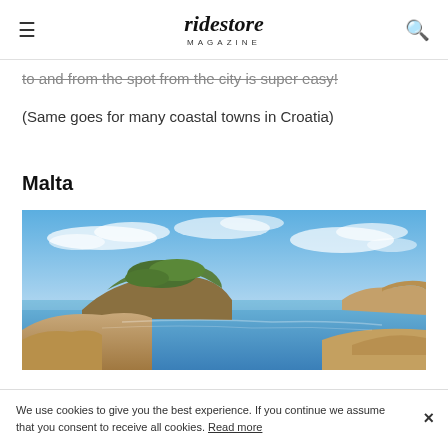ridestore MAGAZINE
to and from the spot from the city is super easy!
(Same goes for many coastal towns in Croatia)
Malta
[Figure (photo): Aerial coastal landscape photo of Malta showing rocky cliffs, green hilltop island, calm blue sea, and partly cloudy sky]
We use cookies to give you the best experience. If you continue we assume that you consent to receive all cookies. Read more